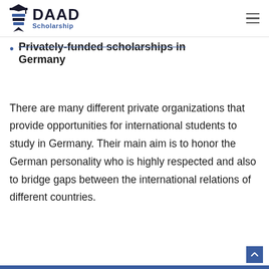DAAD Scholarship
Privately-funded scholarships in Germany
There are many different private organizations that provide opportunities for international students to study in Germany. Their main aim is to honor the German personality who is highly respected and also to bridge gaps between the international relations of different countries.